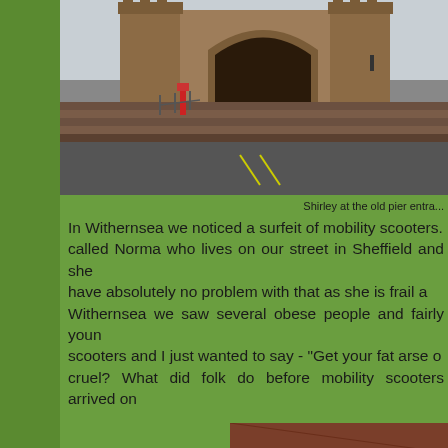[Figure (photo): Photo of a castle/pier entrance with stone towers and archway, steps leading up, grey sky, road in foreground]
Shirley at the old pier entra...
In Withernsea we noticed a surfeit of mobility scooters. called Norma who lives on our street in Sheffield and she have absolutely no problem with that as she is frail a Withernsea we saw several obese people and fairly youn scooters and I just wanted to say - "Get your fat arse o cruel? What did folk do before mobility scooters arrived on
[Figure (photo): Photo of a building with white wooden siding and a green sign at the bottom reading SUNSHINE CA...]